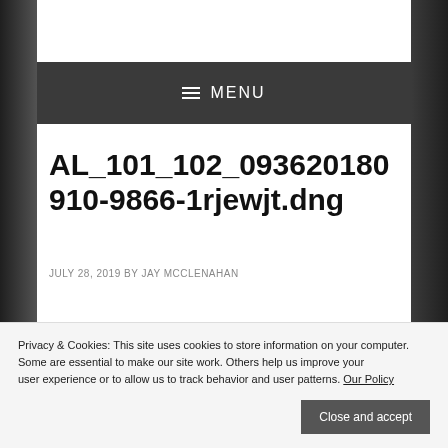≡ MENU
AL_101_102_093620180910-9866-1rjewjt.dng
JULY 28, 2019 BY JAY MCCLENAHAN
LEAVE A COMMENT
Privacy & Cookies: This site uses cookies to store information on your computer. Some are essential to make our site work. Others help us improve your user experience or to allow us to track behavior and user patterns. Our Policy
Close and accept